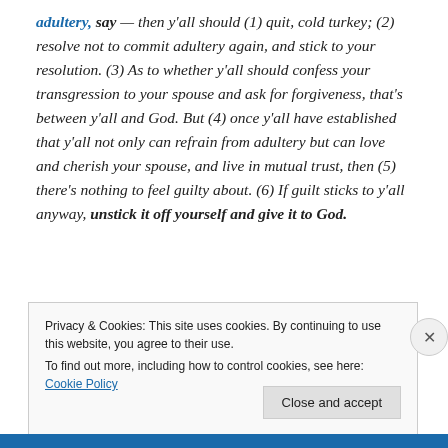adultery, say — then y'all should (1) quit, cold turkey; (2) resolve not to commit adultery again, and stick to your resolution. (3) As to whether y'all should confess your transgression to your spouse and ask for forgiveness, that's between y'all and God. But (4) once y'all have established that y'all not only can refrain from adultery but can love and cherish your spouse, and live in mutual trust, then (5) there's nothing to feel guilty about. (6) If guilt sticks to y'all anyway, unstick it off yourself and give it to God.
Privacy & Cookies: This site uses cookies. By continuing to use this website, you agree to their use.
To find out more, including how to control cookies, see here: Cookie Policy